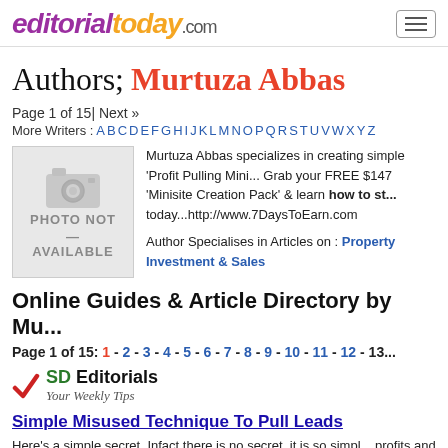editorialtoday.com
Authors; Murtuza Abbas  Page 1 of 15| Next »
More Writers : A B C D E F G H I J K L M N O P Q R S T U V W X Y Z
[Figure (photo): Photo not available placeholder with camera icon]
Murtuza Abbas specializes in creating simple 'Profit Pulling Mini... Grab your FREE $147 'Minisite Creation Pack' & learn how to st... today...http://www.7DaysToEarn.com
Author Specialises in Articles on : Property Investment & Sales
Online Guides & Article Directory by Mu...
Page 1 of 15: 1 - 2 - 3 - 4 - 5 - 6 - 7 - 8 - 9 - 10 - 11 - 12 - 13...
[Figure (logo): SD Editorials - Your Weekly Tips logo with red checkmark]
Simple Misused Technique To Pull Leads
Here's a simple secret. Infact there is no secret, it is so simpl... profits and conversion rate.I did this same mistake but fortu... my subscriber and cu...
Similar Editorial : The Taffy Pull by LeAnn R. Ralph. | Source : Selling...